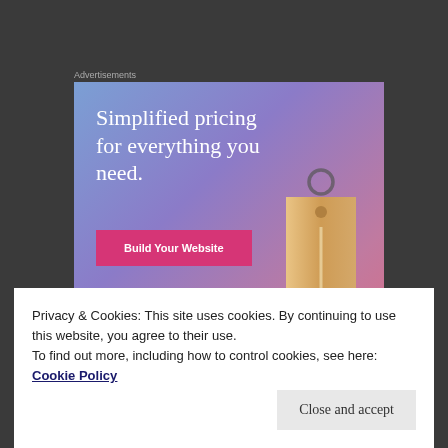Advertisements
[Figure (illustration): Advertisement banner with blue-to-pink gradient background, showing text 'Simplified pricing for everything you need.' with a pink 'Build Your Website' button and a 3D price tag illustration on the right.]
Privacy & Cookies: This site uses cookies. By continuing to use this website, you agree to their use.
To find out more, including how to control cookies, see here:
Cookie Policy
Close and accept